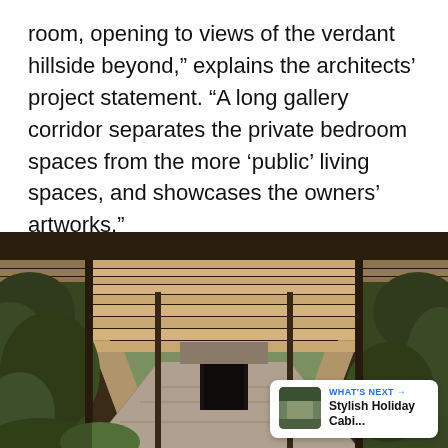room, opening to views of the verdant hillside beyond," explains the architects' project statement. "A long gallery corridor separates the private bedroom spaces from the more ‘public’ living spaces, and showcases the owners’ artworks."
[Figure (photo): Photograph of a long covered outdoor corridor/gallery with a wooden slatted pergola roof, flanked by lush green trees and vegetation on both sides, with a dark doorway visible at the far end. Social sharing UI overlays visible on the right side including a heart icon, share icon, and a count of 4. A 'What's Next' card in the lower right corner shows 'Stylish Holiday Cabi...' with a thumbnail.]